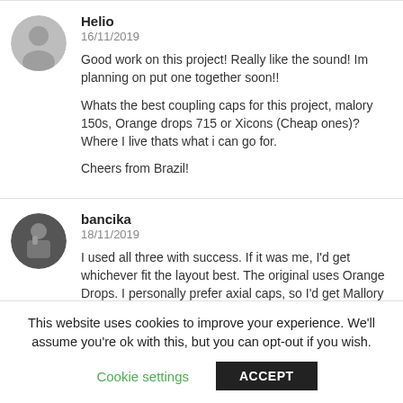Helio
16/11/2019
Good work on this project! Really like the sound! Im planning on put one together soon!!

Whats the best coupling caps for this project, malory 150s, Orange drops 715 or Xicons (Cheap ones)? Where I live thats what i can go for.

Cheers from Brazil!
bancika
18/11/2019
I used all three with success. If it was me, I'd get whichever fit the layout best. The original uses Orange Drops. I personally prefer axial caps, so I'd get Mallory but I doubt you'd be able to tell the
This website uses cookies to improve your experience. We'll assume you're ok with this, but you can opt-out if you wish.
Cookie settings
ACCEPT